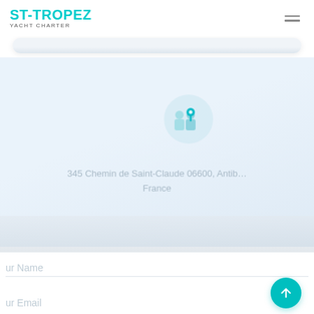ST-TROPEZ YACHT CHARTER
[Figure (illustration): Location/map pin icon inside a light circle, representing an address marker on a map background]
345 Chemin de Saint-Claude 06600, Antibes, France
ur Name
ur Email